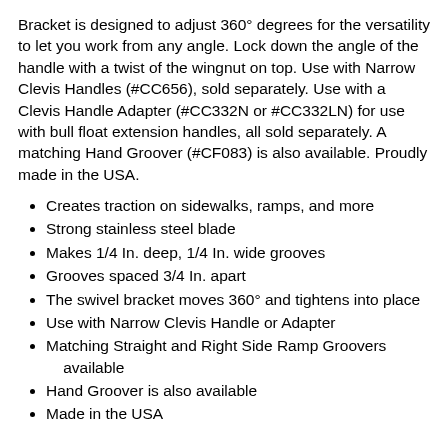Bracket is designed to adjust 360° degrees for the versatility to let you work from any angle. Lock down the angle of the handle with a twist of the wingnut on top. Use with Narrow Clevis Handles (#CC656), sold separately. Use with a Clevis Handle Adapter (#CC332N or #CC332LN) for use with bull float extension handles, all sold separately. A matching Hand Groover (#CF083) is also available. Proudly made in the USA.
Creates traction on sidewalks, ramps, and more
Strong stainless steel blade
Makes 1/4 In. deep, 1/4 In. wide grooves
Grooves spaced 3/4 In. apart
The swivel bracket moves 360° and tightens into place
Use with Narrow Clevis Handle or Adapter
Matching Straight and Right Side Ramp Groovers available
Hand Groover is also available
Made in the USA